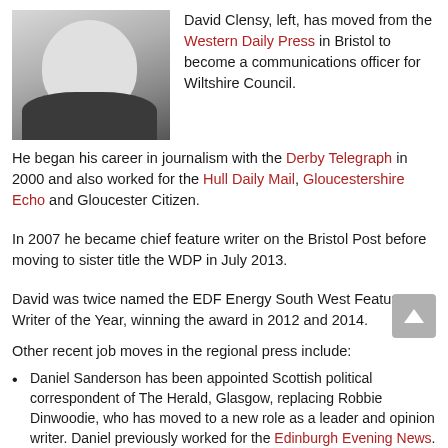[Figure (photo): Black and white headshot photo of David Clensy, a man wearing glasses, smiling, in a dark jacket.]
David Clensy, left, has moved from the Western Daily Press in Bristol to become a communications officer for Wiltshire Council.
He began his career in journalism with the Derby Telegraph in 2000 and also worked for the Hull Daily Mail, Gloucestershire Echo and Gloucester Citizen.
In 2007 he became chief feature writer on the Bristol Post before moving to sister title the WDP in July 2013.
David was twice named the EDF Energy South West Feature Writer of the Year, winning the award in 2012 and 2014.
Other recent job moves in the regional press include:
Daniel Sanderson has been appointed Scottish political correspondent of The Herald, Glasgow, replacing Robbie Dinwoodie, who has moved to a new role as a leader and opinion writer. Daniel previously worked for the Edinburgh Evening News.
Nottingham Post has appointed Dan Russell as education